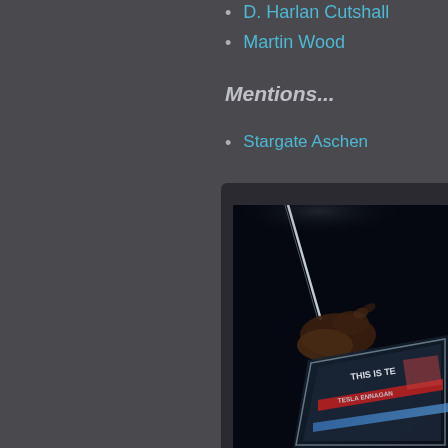D. Harlan Cutshall
Martin Wood
Mentions...
Stargate Aschen
[Figure (photo): Dark scene showing a hand reaching toward a glowing screen or tablet device displaying text including 'THIS IS TE...' and 'TESLA ENNAGAN', photographed at an angle with dramatic lighting]